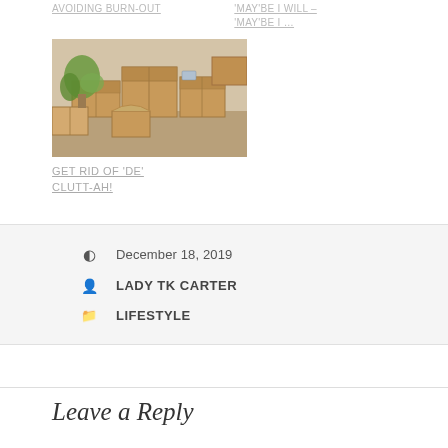AVOIDING BURN-OUT
'MAY'BE I WILL – 'MAY'BE I …
[Figure (photo): Photo of cardboard moving boxes with plants and household items packed, viewed from above]
GET RID OF 'DE' CLUTT-AH!
December 18, 2019
LADY TK CARTER
LIFESTYLE
Leave a Reply